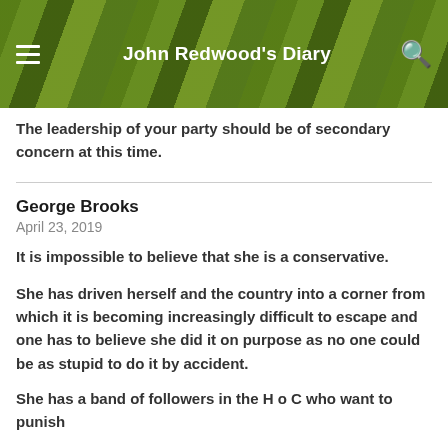John Redwood's Diary
The leadership of your party should be of secondary concern at this time.
George Brooks
April 23, 2019
It is impossible to believe that she is a conservative.
She has driven herself and the country into a corner from which it is becoming increasingly difficult to escape and one has to believe she did it on purpose as no one could be as stupid to do it by accident.
She has a band of followers in the H o C who want to punish